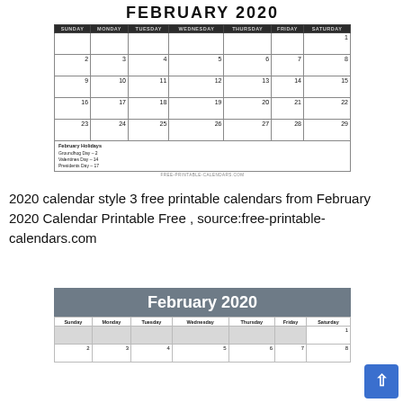[Figure (other): February 2020 calendar grid (style 1), white background, dark header row with days of week, dates 1-29, holidays box at bottom listing Groundhog Day-2, Valentines Day-14, Presidents Day-17, watermark FREE-PRINTABLE-CALENDARS.COM]
2020 calendar style 3 free printable calendars from February 2020 Calendar Printable Free , source:free-printable-calendars.com
[Figure (other): February 2020 calendar grid (style 2), gray header banner, white day-of-week row, dates beginning with 1 on Saturday row, partial bottom row showing 2, 3, 4, 5, 6, 7, 8]